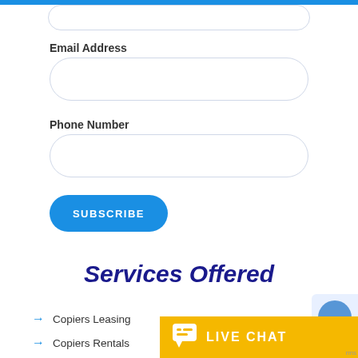Email Address
Phone Number
SUBSCRIBE
Services Offered
Copiers Leasing
Copiers Rentals
[Figure (screenshot): Live chat widget with yellow background showing chat bubble icon and LIVE CHAT text]